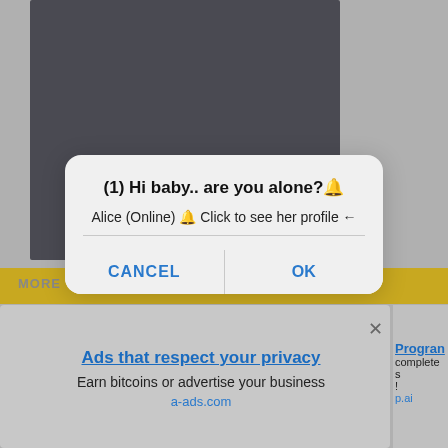[Figure (screenshot): Screenshot of a browser/app showing a spam/ad dialog overlay on a dark webpage background. The dialog reads '(1) Hi baby.. are you alone?🔔' with subtitle 'Alice (Online) 🔔 Click to see her profile ←' and two buttons: CANCEL and OK. Below is a banner ad for 'Ads that respect your privacy' from a-ads.com, with a close button.]
(1) Hi baby.. are you alone?🔔
Alice (Online) 🔔 Click to see her profile ←
CANCEL
OK
MORE
Ads that respect your privacy
Earn bitcoins or advertise your business
a-ads.com
Program
complete s!
p.ai